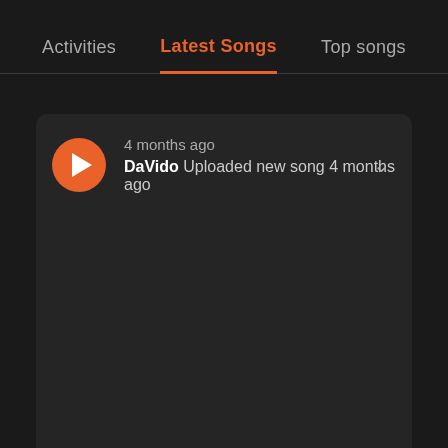Activities | Latest Songs | Top songs
4 months ago
DaVido Uploaded new song 4 months ago